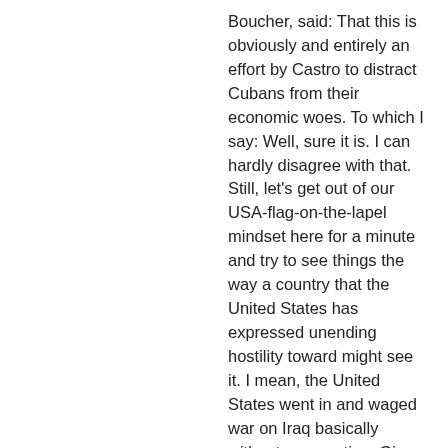Boucher, said: That this is obviously and entirely an effort by Castro to distract Cubans from their economic woes. To which I say: Well, sure it is. I can hardly disagree with that. Still, let's get out of our USA-flag-on-the-lapel mindset here for a minute and try to see things the way a country that the United States has expressed unending hostility toward might see it. I mean, the United States went in and waged war on Iraq basically without provocation. Given that, wouldn't it be negligent of Castro not to prepare himself for an attack by the United States? Hell, that would be like the U.S. government, after receiving intelligence suggesting it would happen, not preparing itself for an attack by terrorists taking over airplanes.
My point, I guess, is that we still don't seem to understand how this war has changed (or, in an equally bad way, solidified) the world's view of the